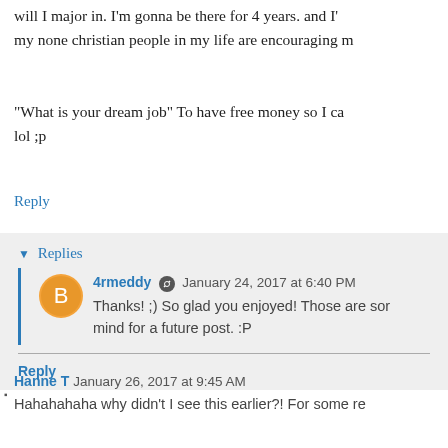will I major in. I'm gonna be there for 4 years. and I my none christian people in my life are encouraging m
"What is your dream job" To have free money so I ca lol ;p
Reply
▾ Replies
4rmeddy January 24, 2017 at 6:40 PM
Thanks! ;) So glad you enjoyed! Those are som mind for a future post. :P
Reply
Hanne T January 26, 2017 at 9:45 AM
Hahahahaha why didn't I see this earlier?! For some re